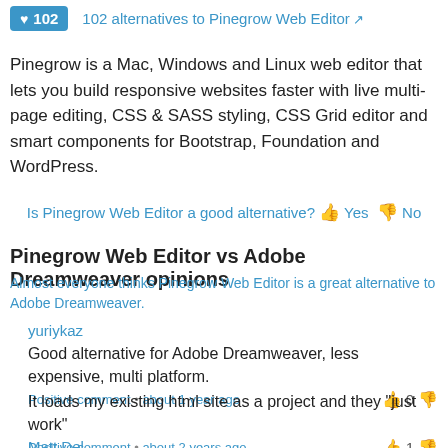102  102 alternatives to Pinegrow Web Editor
Pinegrow is a Mac, Windows and Linux web editor that lets you build responsive websites faster with live multi-page editing, CSS & SASS styling, CSS Grid editor and smart components for Bootstrap, Foundation and WordPress.
Is Pinegrow Web Editor a good alternative? Yes No
Pinegrow Web Editor vs Adobe Dreamweaver opinions
Almost everyone thinks Pinegrow Web Editor is a great alternative to Adobe Dreamweaver.
yuriykaz
Good alternative for Adobe Dreamweaver, less expensive, multi platform.
Positive comment • about 1 year ago  0
It loads my existing html site as a project and they "just work"
Positive comment • about 2 years ago  1
Matt Del...